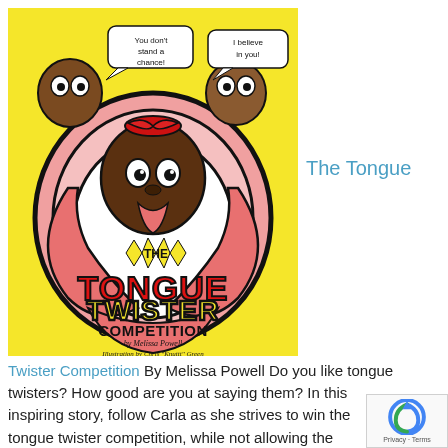[Figure (illustration): Book cover for 'The Tongue Twister Competition' by Melissa Powell, illustrated by Chris 'Knuttt' Green. Yellow background with a cartoon character (child with red bow) surrounded by large pink tongue shapes. Two smaller characters have speech bubbles: 'You don't stand a chance!' and 'I believe in you!'. Title text shows 'THE TONGUE TWISTER COMPETITION' in bold colorful letters.]
The Tongue
Twister Competition By Melissa Powell Do you like tongue twisters? How good are you at saying them? In this inspiring story, follow Carla as she strives to win the tongue twister competition, while not allowing the discouraging words of the other kids to get in her way.